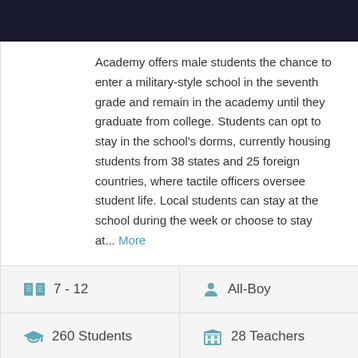Academy offers male students the chance to enter a military-style school in the seventh grade and remain in the academy until they graduate from college. Students can opt to stay in the school's dorms, currently housing students from 38 states and 25 foreign countries, where tactile officers oversee student life. Local students can stay at the school during the week or choose to stay at... More
| 7 - 12 | All-Boy |
| 260 Students | 28 Teachers |